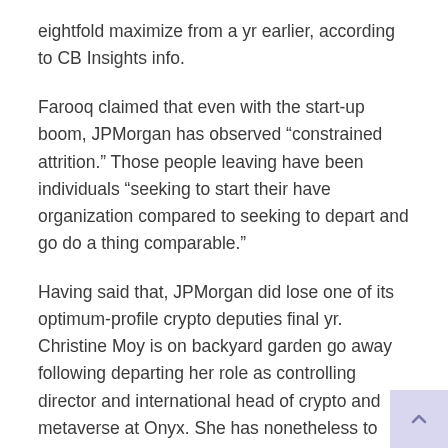eightfold maximize from a yr earlier, according to CB Insights info.
Farooq claimed that even with the start-up boom, JPMorgan has observed “constrained attrition.” Those people leaving have been individuals “seeking to start their have organization compared to seeking to depart and go do a thing comparable.”
Having said that, JPMorgan did lose one of its optimum-profile crypto deputies final yr. Christine Moy is on backyard garden go away following departing her role as controlling director and international head of crypto and metaverse at Onyx. She has nonetheless to announce her up-coming transfer.